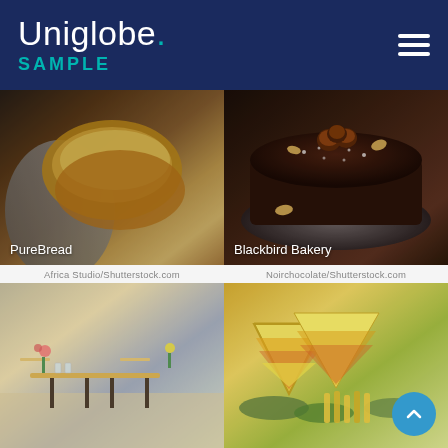Uniglobe. SAMPLE
[Figure (photo): Hands holding a torn bread roll on a grey cloth, bakery setting. Label: PureBread. Credit: Africa Studio/Shutterstock.com]
[Figure (photo): Chocolate cake topped with chestnuts and almonds dusted with powdered sugar on a dark plate. Label: Blackbird Bakery. Credit: Noirchocolate/Shutterstock.com]
[Figure (photo): Outdoor/indoor cafe with wooden tables and chairs, flowers in pots, warm natural lighting.]
[Figure (photo): Club sandwiches cut in triangles with cheese and greens, served with fries on a plate. A blue scroll-to-top button overlay visible.]